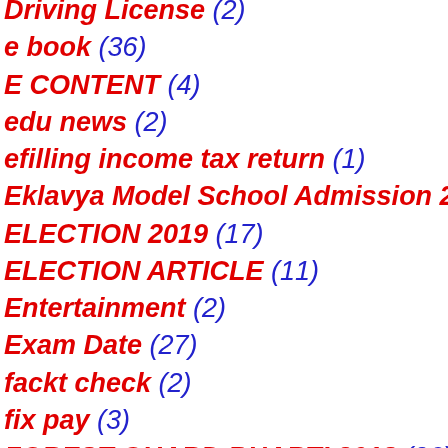Driving License (2)
e book (36)
E CONTENT (4)
edu news (2)
efilling income tax return (1)
Eklavya Model School Admission 2022 (1)
ELECTION 2019 (17)
ELECTION ARTICLE (11)
Entertainment (2)
Exam Date (27)
fackt check (2)
fix pay (3)
FOREST GUARD BHARTI 2018 (26)
GAS BOOKING (1)
General knowledge (25)
GK vIDEO (2)
gold & silver price (1)
government yojna (80)
GPSC JOB (25)